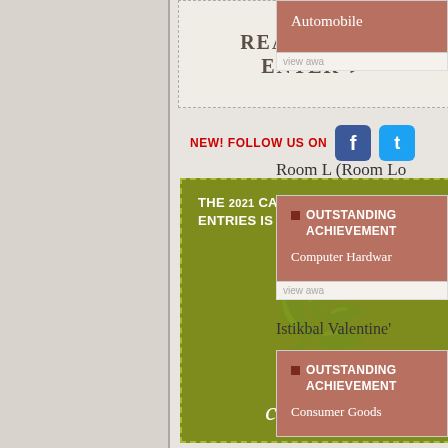REASONS TO ENTER ▶
NEW! FOLLOW US ON
[Figure (logo): Facebook logo icon (blue square with white F)]
[Figure (logo): Twitter logo icon (light blue square with white bird)]
THE 2021 CALL FOR ENTRIES IS UNDERWAY! click here!
Automobile
view awa
Room L (Room Lo
OUTSTANDING ACHIEVEMENT
Computer Hardware
view awa
Istikbal Valentine's
OUTSTANDING ACHIEVEMENT
Consumer Goods
view awa
Gece Acikanlar // 2